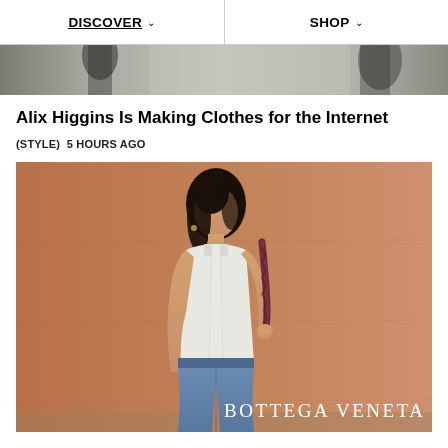DISCOVER  SHOP
[Figure (photo): Cropped fashion photo strip showing figures in dark clothing against a light background]
Alix Higgins Is Making Clothes for the Internet
(STYLE)  5 HOURS AGO
[Figure (photo): Fashion model wearing a white tank top and blue jeans, holding a dark braided bag strap, standing against a terracotta/sandy brown wall. Bottega Veneta brand label in bottom right corner.]